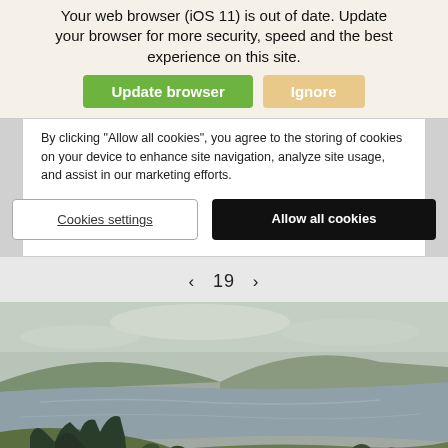Your web browser (iOS 11) is out of date. Update your browser for more security, speed and the best experience on this site.
Update browser | Ignore
By clicking “Allow all cookies”, you agree to the storing of cookies on your device to enhance site navigation, analyze site usage, and assist in our marketing efforts.
Cookies settings | Allow all cookies
< 19 >
[Figure (photo): A landscape painting of a river with rolling hills, trees in the foreground, and an overcast sky.]